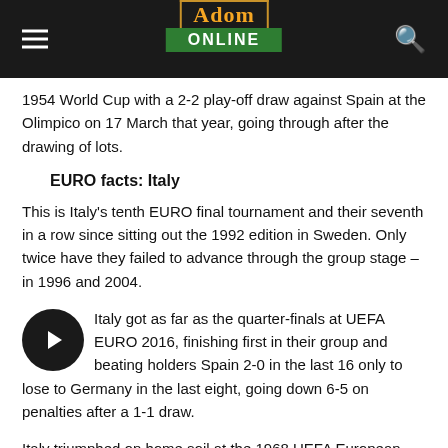Adom ONLINE
1954 World Cup with a 2-2 play-off draw against Spain at the Olimpico on 17 March that year, going through after the drawing of lots.
EURO facts: Italy
This is Italy's tenth EURO final tournament and their seventh in a row since sitting out the 1992 edition in Sweden. Only twice have they failed to advance through the group stage – in 1996 and 2004.
Italy got as far as the quarter-finals at UEFA EURO 2016, finishing first in their group and beating holders Spain 2-0 in the last 16 only to lose to Germany in the last eight, going down 6-5 on penalties after a 1-1 draw.
Italy triumphed on home soil at the 1968 UEFA European Championship and have been runners-up twice since – in 2000 and 2012.